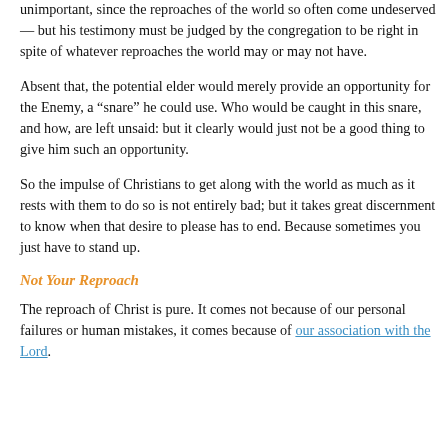reputation”. The world may or may not like him — that would be unimportant, since the reproaches of the world so often come undeserved — but his testimony must be judged by the congregation to be right in spite of whatever reproaches the world may or may not have.
Absent that, the potential elder would merely provide an opportunity for the Enemy, a “snare” he could use. Who would be caught in this snare, and how, are left unsaid: but it clearly would just not be a good thing to give him such an opportunity.
So the impulse of Christians to get along with the world as much as it rests with them to do so is not entirely bad; but it takes great discernment to know when that desire to please has to end. Because sometimes you just have to stand up.
Not Your Reproach
The reproach of Christ is pure. It comes not because of our personal failures or human mistakes, it comes because of our association with the Lord.